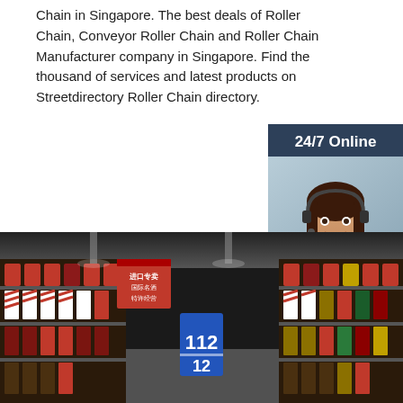Chain in Singapore. The best deals of Roller Chain, Conveyor Roller Chain and Roller Chain Manufacturer company in Singapore. Find the thousand of services and latest products on Streetdirectory Roller Chain directory.
[Figure (other): Orange 'Get Price' button]
[Figure (other): 24/7 Online chat widget with female customer service agent wearing headset, 'Click here for free chat!' text and orange QUOTATION button]
[Figure (photo): Retail store shelves stocked with bottles and packaged products including items with red and white diagonal stripe packaging and a blue sign showing '112 / 12']